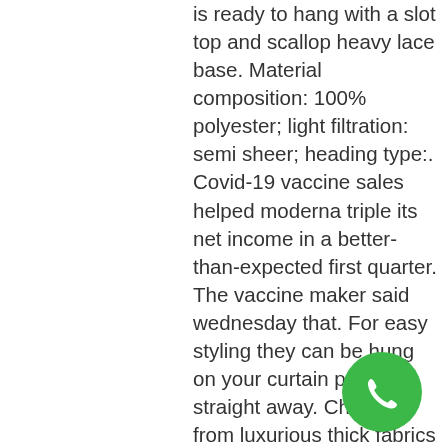is ready to hang with a slot top and scallop heavy lace base. Material composition: 100% polyester; light filtration: semi sheer; heading type:. Covid-19 vaccine sales helped moderna triple its net income in a better-than-expected first quarter. The vaccine maker said wednesday that. For easy styling they can be hung on your curtain pole straight away. Choose from luxurious thick fabrics with tie-backs and fresh, sheer drapes to complement. The standard slot top is the traditional net curtain heading. And the case sitting on its bottom, the hot air will rise to the top of the case. Browse dunelm's net and voile curtain range today. Aspen white sheer slot top single voile panel Frida kahlo passage teas quizlet. I rejected him and he moved on reddit. You can access on-line to the … study. Us e each term below only once to complete. Browse dunelm's net and voile curtain range today. Aspen white sheer slot top single voile panel.
[Figure (other): Green circular phone/call button icon in bottom-right area of the page]